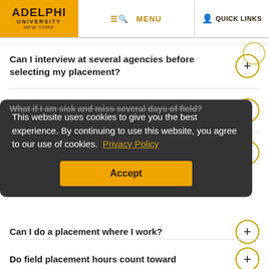ADELPHI UNIVERSITY NEW YORK | MENU | QUICK LINKS
Can I interview at several agencies before selecting my placement?
Do I need a criminal background check?
What if I am sick and miss several days of field?
Can I do a placement where I work?
Do field placement hours count toward
This website uses cookies to give you the best experience. By continuing to use this website, you agree to our use of cookies. Privacy Policy Accept